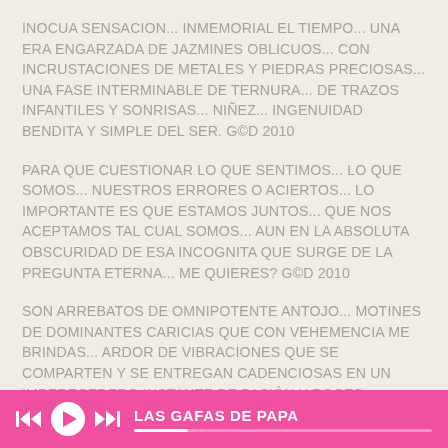INOCUA SENSACION... INMEMORIAL EL TIEMPO... UNA ERA ENGARZADA DE JAZMINES OBLICUOS... CON INCRUSTACIONES DE METALES Y PIEDRAS PRECIOSAS... UNA FASE INTERMINABLE DE TERNURA... DE TRAZOS INFANTILES Y SONRISAS... NIÑEZ... INGENUIDAD BENDITA Y SIMPLE DEL SER. G©D 2010
PARA QUE CUESTIONAR LO QUE SENTIMOS... LO QUE SOMOS... NUESTROS ERRORES O ACIERTOS... LO IMPORTANTE ES QUE ESTAMOS JUNTOS... QUE NOS ACEPTAMOS TAL CUAL SOMOS... AUN EN LA ABSOLUTA OBSCURIDAD DE ESA INCOGNITA QUE SURGE DE LA PREGUNTA ETERNA... ME QUIERES? G©D 2010
SON ARREBATOS DE OMNIPOTENTE ANTOJO... MOTINES DE DOMINANTES CARICIAS QUE CON VEHEMENCIA ME BRINDAS... ARDOR DE VIBRACIONES QUE SE COMPARTEN Y SE ENTREGAN CADENCIOSAS EN UN IMPERECEDERO INSTANTE DE PASIÓN Y ROCES ARDIENTES... EN CONSONANCIA ALUCINANTE! G©D 2010
CANSADO EL CUERPO... IMPACIENTE EL CORAZÓN... ESPERANDO TAN SOLO UN MIMO... UNA CARICIA SIMPLE... LA TERNURA
LAS GAFAS DE PAPA